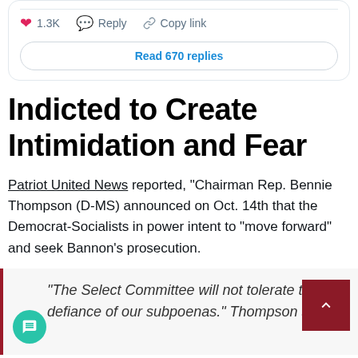[Figure (screenshot): Tweet interaction bar showing pink heart with 1.3K likes, blue reply bubble with Reply label, chain link icon with Copy link label, and a Read 670 replies button]
Indicted to Create Intimidation and Fear
Patriot United News reported, “Chairman Rep. Bennie Thompson (D-MS) announced on Oct. 14th that the Democrat-Socialists in power intent to “move forward” and seek Bannon’s prosecution.
“The Select Committee will not tolerate the defiance of our subpoenas.” Thompson said in